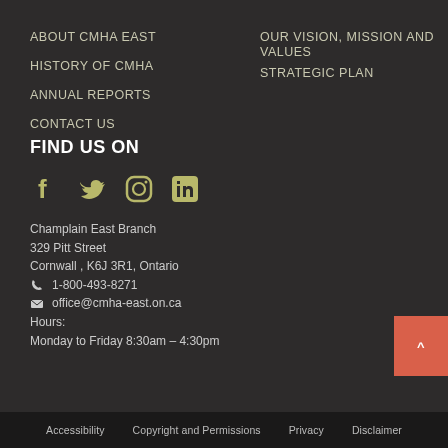ABOUT CMHA EAST
HISTORY OF CMHA
ANNUAL REPORTS
CONTACT US
OUR VISION, MISSION AND VALUES
STRATEGIC PLAN
FIND US ON
[Figure (logo): Social media icons: Facebook, Twitter, Instagram, LinkedIn]
Champlain East Branch
329 Pitt Street
Cornwall , K6J 3R1, Ontario
☎ 1-800-493-8271
✉ office@cmha-east.on.ca
Hours:
Monday to Friday 8:30am – 4:30pm
Accessibility   Copyright and Permissions   Privacy   Disclaimer